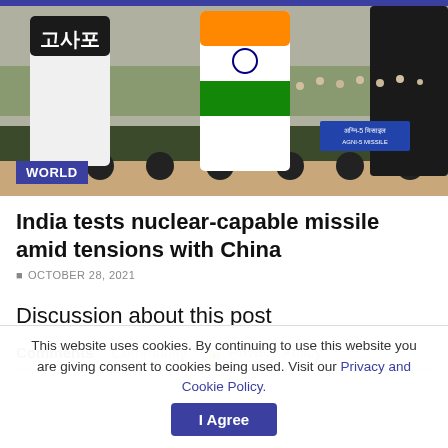[Figure (photo): Missiles on military vehicles during a parade, with Indian flag colors on the missiles. A blue sign with text is visible on one missile.]
India tests nuclear-capable missile amid tensions with China
OCTOBER 28, 2021
Discussion about this post
Comments   Community   🔒 Privacy Policy
This website uses cookies. By continuing to use this website you are giving consent to cookies being used. Visit our Privacy and Cookie Policy.